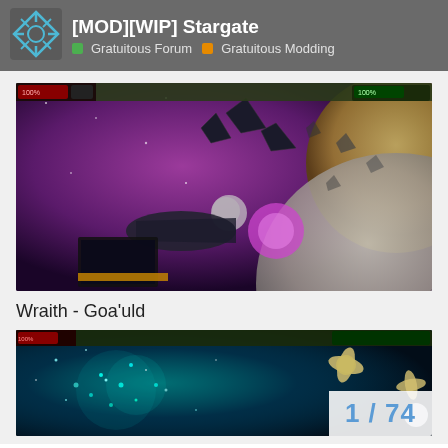[MOD][WIP] Stargate — Gratuitous Forum | Gratuitous Modding
[Figure (screenshot): Space strategy game screenshot showing Wraith ships vs Goa'uld in a purple nebula environment with asteroids and planets]
Wraith - Goa'uld
[Figure (screenshot): Space strategy game screenshot showing teal/cyan star field with alien ships, page counter overlay showing 1 / 74]